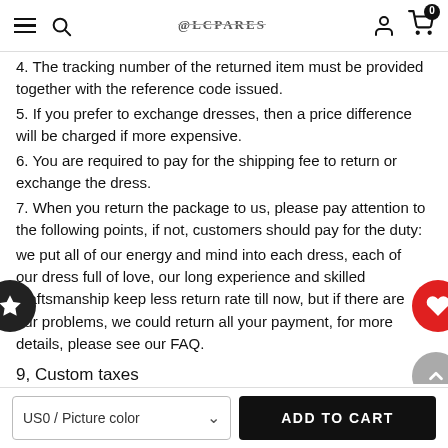Navigation bar with menu, search, brand logo, user icon, and cart (0 items)
4. The tracking number of the returned item must be provided together with the reference code issued.
5. If you prefer to exchange dresses, then a price difference will be charged if more expensive.
6. You are required to pay for the shipping fee to return or exchange the dress.
7. When you return the package to us, please pay attention to the following points, if not, customers should pay for the duty:
we put all of our energy and mind into each dress, each of our dress full of love, our long experience and skilled craftsmanship keep less return rate till now, but if there are our problems, we could return all your payment, for more details, please see our FAQ.
9, Custom taxes
Except Unite States, most buyers need to pay customs taxes, in order to save cost for you, we have marked around $30-40.00 on the invoice, then you just pay less taxes, please note that it's express help